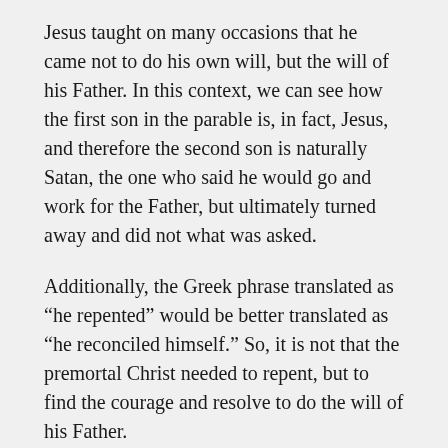Jesus taught on many occasions that he came not to do his own will, but the will of his Father. In this context, we can see how the first son in the parable is, in fact, Jesus, and therefore the second son is naturally Satan, the one who said he would go and work for the Father, but ultimately turned away and did not what was asked.
Additionally, the Greek phrase translated as “he repented” would be better translated as “he reconciled himself.” So, it is not that the premortal Christ needed to repent, but to find the courage and resolve to do the will of his Father.
Because of the Jewish leaders’ thorough understanding of the concept of Heavenly Councils, once Jesus reminded them that this was about recognizing authority, they probably would